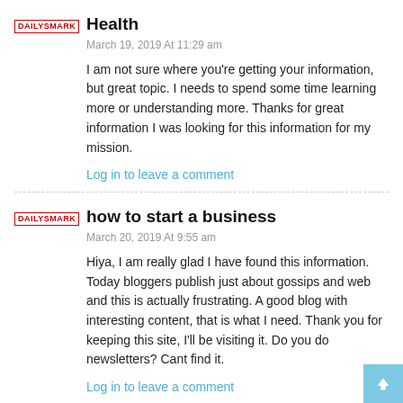[Figure (logo): DailyShark logo in red with border]
Health
March 19, 2019 At 11:29 am
I am not sure where you're getting your information, but great topic. I needs to spend some time learning more or understanding more. Thanks for great information I was looking for this information for my mission.
Log in to leave a comment
[Figure (logo): DailyShark logo in red with border]
how to start a business
March 20, 2019 At 9:55 am
Hiya, I am really glad I have found this information. Today bloggers publish just about gossips and web and this is actually frustrating. A good blog with interesting content, that is what I need. Thank you for keeping this site, I'll be visiting it. Do you do newsletters? Cant find it.
Log in to leave a comment